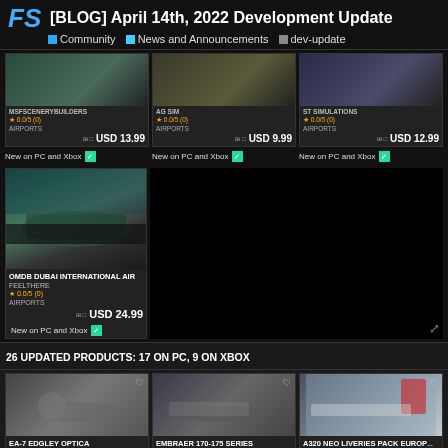[BLOG] April 14th, 2022 Development Update | Community | News and Announcements | dev-update
[Figure (screenshot): Three airport product cards: MSFSCENERYBUILDERS USD 13.99, AG SIM USD 9.99, ST SIMULATIONS USD 12.99, all New on PC and Xbox]
[Figure (screenshot): OMDB Dubai International Airport by FEELTHERE, USD 24.99, New on PC and Xbox]
26 UPDATED PRODUCTS: 17 ON PC, 9 ON XBOX
[Figure (screenshot): Three updated product cards: EA-7 EDGLEY OPTICA by ORBX 3.0/5 (544), EMBRAER 170-175 SERIES by VIRTUALCOL FS SOFTWARE 1.9/5 (767), A320 NEO LIVERIES PACK EUROPE by 4SIMMERS 4.8/5 (308)]